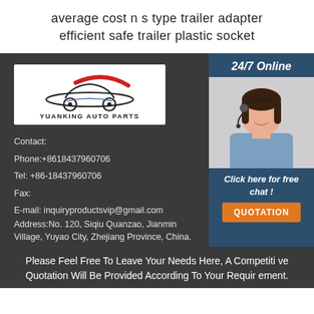average cost n s type trailer adapter efficient safe trailer plastic socket
[Figure (logo): Yuanking Auto Parts logo: car silhouette with red arc, text YUANKING AUTO PARTS]
24/7 Online
[Figure (photo): Customer service agent woman with headset smiling]
Click here for free chat !
QUOTATION
Contact:
Phone:+8618437960706
Tel: +86-18437960706
Fax:
E-mail: inquiryproductsvip@gmail.com
Address:No. 120, Siqiu Quanzao, Jianmin Village, Yuyao City, Zhejiang Province, China.
Please Feel Free To Leave Your Needs Here, A Competitive Quotation Will Be Provided According To Your Requirement.